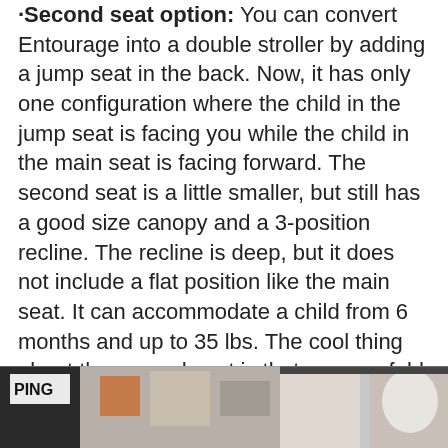·Second seat option: You can convert Entourage into a double stroller by adding a jump seat in the back. Now, it has only one configuration where the child in the jump seat is facing you while the child in the main seat is facing forward. The second seat is a little smaller, but still has a good size canopy and a 3-position recline. The recline is deep, but it does not include a flat position like the main seat. It can accommodate a child from 6 months and up to 35 lbs. The cool thing about the second seat is that you can fold it when not needed without taking it off the stroller and then decrease the length of the frame. And when both kids want to take a nap, you can extend the stroller and fully recline both seats. Amazing!
[Figure (photo): Partial photo at the bottom of the page, showing what appears to be a stroller-related scene with text 'PING' visible on the left side]